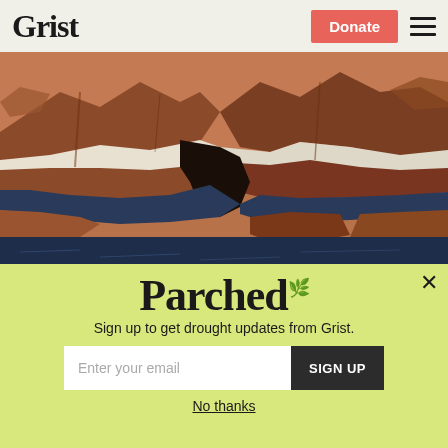Grist | Donate
[Figure (photo): Aerial view of Lake Powell showing dramatic red and brown canyon walls with white bathtub ring marks indicating low water levels, with dark blue water visible at the bottom of the canyons.]
Federal government announces historic cuts to Colorado River allocations
Parched
Sign up to get drought updates from Grist.
Enter your email | SIGN UP
No thanks